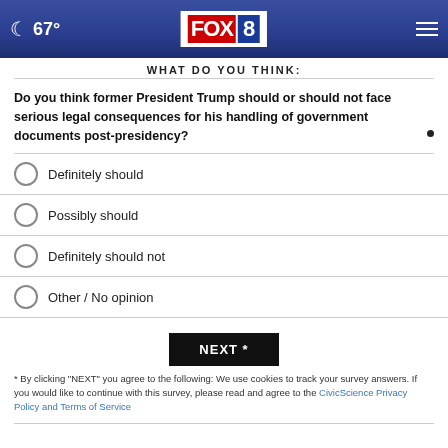FOX 8 — 67°
WHAT DO YOU THINK?
Do you think former President Trump should or should not face serious legal consequences for his handling of government documents post-presidency?
Definitely should
Possibly should
Definitely should not
Other / No opinion
NEXT *
* By clicking "NEXT" you agree to the following: We use cookies to track your survey answers. If you would like to continue with this survey, please read and agree to the CivicScience Privacy Policy and Terms of Service